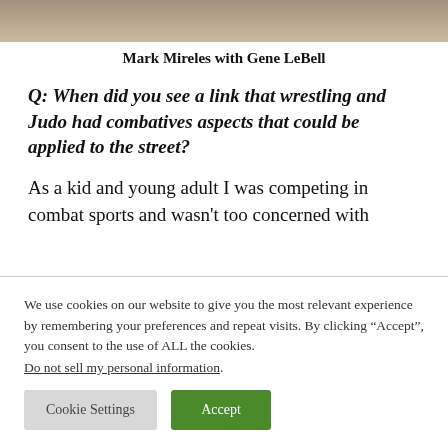[Figure (photo): Partial photo of Mark Mireles with Gene LeBell, cropped at top]
Mark Mireles with Gene LeBell
Q: When did you see a link that wrestling and Judo had combatives aspects that could be applied to the street?
As a kid and young adult I was competing in combat sports and wasn't too concerned with
We use cookies on our website to give you the most relevant experience by remembering your preferences and repeat visits. By clicking “Accept”, you consent to the use of ALL the cookies.
Do not sell my personal information.